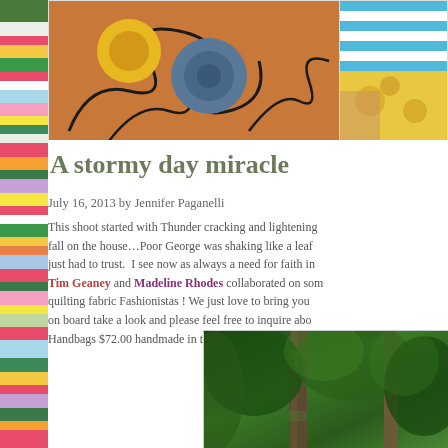[Figure (photo): Left sidebar with colorful fabric/quilt pattern strips in pink, yellow, green, teal, purple colors with dashed red border on right]
[Figure (photo): Top image strip showing flowers (yellow and blue/teal) with decorative iron scrollwork on terracotta surface]
[Figure (photo): Top right image showing blue and white striped fabric and yellow floral fabric]
A stormy day miracle
July 16, 2013 by Jennifer Paganelli
This shoot started with Thunder cracking and lightening fall on the house…Poor George was shaking like a leaf just had to trust.  I see now as always a need for faith in Tim Geaney and Madeline Rhodes collaborated on som quilting fabric Fashionistas ! We just love to bring you on board take a look and please feel free to inquire abo Handbags $72.00 handmade in the US of A!!!
[Figure (photo): Bottom image showing lush green forest/trees with tree trunks visible]